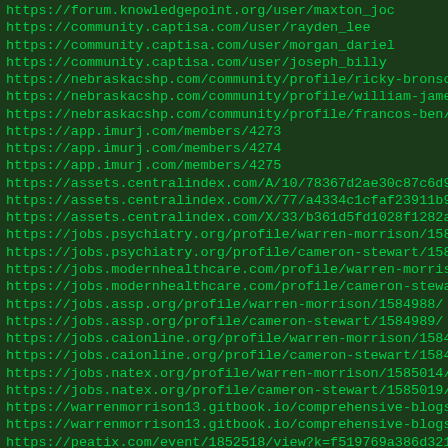https://forum.knowledgepoint.org/user/maxton_joc
https://community.captisa.com/user/rayden_lee
https://community.captisa.com/user/morgan_dariel
https://community.captisa.com/user/joseph_billy
https://nebraskacshp.com/community/profile/ricky-bronson/
https://nebraskacshp.com/community/profile/william-james/
https://nebraskacshp.com/community/profile/francos-ben/
https://app.imurj.com/members/4273
https://app.imurj.com/members/4274
https://app.imurj.com/members/4275
https://assets.centralindex.com/A/10/78367d2ae30c87c6d98478...
https://assets.centralindex.com/X/77/a4334c1cfaf23911b9d2c6...
https://assets.centralindex.com/X/33/b361d5fd1028f1282af666...
https://jobs.psychiatry.org/profile/warren-morrison/158497...
https://jobs.psychiatry.org/profile/cameron-stewart/158497...
https://jobs.modernhealthcare.com/profile/warren-morrison/1...
https://jobs.modernhealthcare.com/profile/cameron-stewart/1...
https://jobs.assp.org/profile/warren-morrison/1584988/
https://jobs.assp.org/profile/cameron-stewart/1584989/
https://jobs.caionline.org/profile/warren-morrison/1584993/
https://jobs.caionline.org/profile/cameron-stewart/1584995/
https://jobs.natex.org/profile/warren-morrison/1585014/
https://jobs.natex.org/profile/cameron-stewart/1585019/
https://warrenmorrison13.gitbook.io/comprehensive-blogs/
https://warrenmorrison13.gitbook.io/comprehensive-blogs/63+...
https://peatix.com/event/1852518/view?k=f519769a386d3219711...
https://peatix.com/event/1852541/view?k=dd444f9a2f061cabeda...
https://warrenblogs.mystrikingly.com/blog/66-fresh-psycholo...
https://warrenblogs.mystrikingly.com/blog/a-shortened-argum...
https://www.pixnet.net/pcard/533856049c4c63fc28/article/8b0...